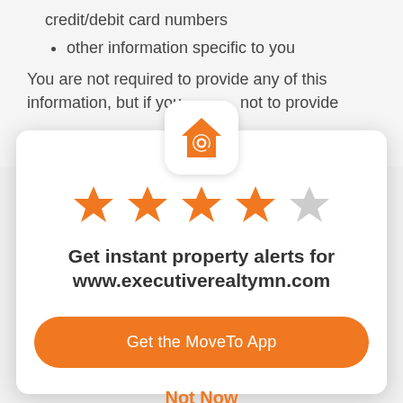credit/debit card numbers
other information specific to you
You are not required to provide any of this information, but if you not to provide
[Figure (logo): Orange house with magnifying glass app icon on white rounded square background]
[Figure (infographic): 4 filled orange stars and 1 empty gray star rating]
Get instant property alerts for www.executiverealtymn.com
Get the MoveTo App
Not Now